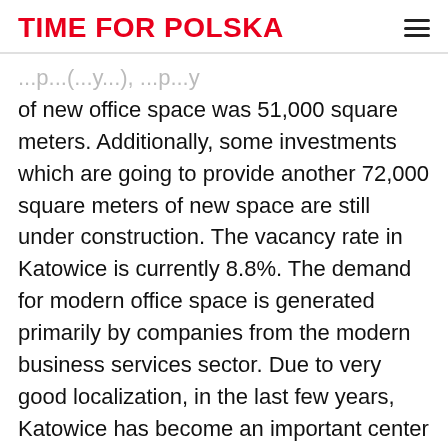TIME FOR POLSKA
of new office space was 51,000 square meters. Additionally, some investments which are going to provide another 72,000 square meters of new space are still under construction. The vacancy rate in Katowice is currently 8.8%. The demand for modern office space is generated primarily by companies from the modern business services sector. Due to very good localization, in the last few years, Katowice has become an important center for SSC / BPO / IT and R&D entrepreneurs and is constantly strengthening its position in this sector. It is worth